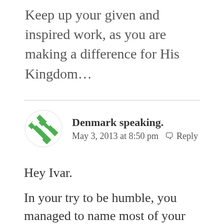Keep up your given and inspired work, as you are making a difference for His Kingdom…
Denmark speaking.
May 3, 2013 at 8:50 pm  Reply
Hey Ivar.
In your try to be humble, you managed to name most of your qualities.